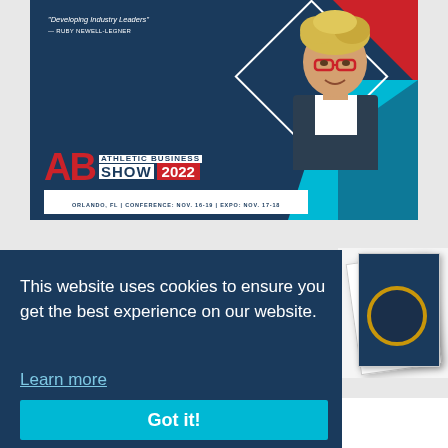[Figure (illustration): Athletic Business Show 2022 advertisement banner featuring a woman speaker, diamond graphic, red and blue geometric shapes, AB logo, and event details: Orlando, FL | Conference: Nov. 16-19 | Expo: Nov. 17-18]
This website uses cookies to ensure you get the best experience on our website.
Learn more
Got it!
IHSAA Sees Surge In Officiating